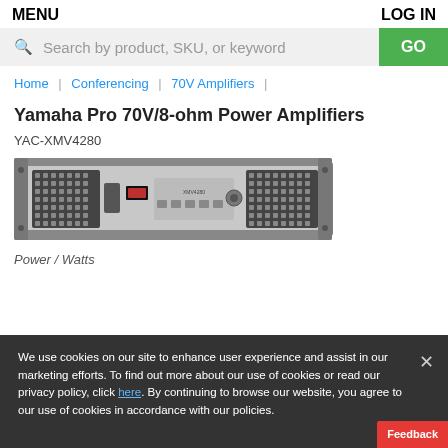MENU    LOG IN
Search by product, SKU, or keyword
Home  |  Conferencing  |  70V Amplifiers  |
Yamaha Pro 70V/8-ohm Power Amplifiers
YAC-XMV4280
[Figure (photo): Front panel of Yamaha Pro 70V/8-ohm Power Amplifier rack unit, showing ventilation grilles, controls, and display]
Power / Watts
We use cookies on our site to enhance user experience and assist in our marketing efforts. To find out more about our use of cookies or read our privacy policy, click here. By continuing to browse our website, you agree to our use of cookies in accordance with our policies.